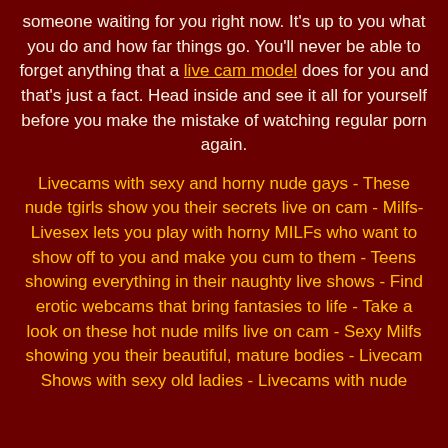someone waiting for you right now. It's up to you what you do and how far things go. You'll never be able to forget anything that a live cam model does for you and that's just a fact. Head inside and see it all for yourself before you make the mistake of watching regular porn again.
Livecams with sexy and horny nude gays - These nude tgirls show you their secrets live on cam - Milfs-Livesex lets you play with horny MILFs who want to show off to you and make you cum to them - Teens showing everything in their naughty live shows - Find erotic webcams that bring fantasies to life - Take a look on these hot nude milfs live on cam - Sexy Milfs showing you their beautiful, mature bodies - Livecam Shows with sexy old ladies - Livecams with nude